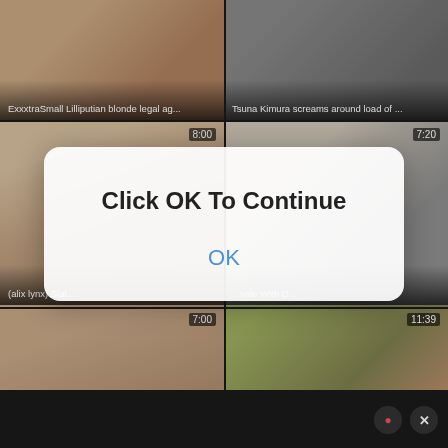[Figure (screenshot): Video thumbnail grid showing adult content video thumbnails in a 2x3 grid layout, with duration badges and titles]
ExxxtraSmall Lilliputian blonde legal ag...
Tsuna Kimura screams around load of ...
(alix lynx) Slatt...
...sale With O...
8:00
7:20
Small teen gets analized
11:39
Click OK To Continue
OK